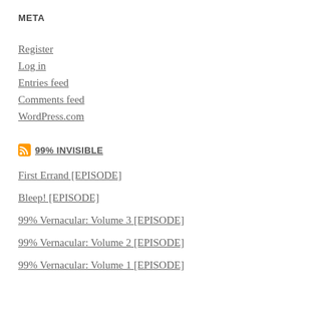META
Register
Log in
Entries feed
Comments feed
WordPress.com
99% INVISIBLE
First Errand [EPISODE]
Bleep! [EPISODE]
99% Vernacular: Volume 3 [EPISODE]
99% Vernacular: Volume 2 [EPISODE]
99% Vernacular: Volume 1 [EPISODE]